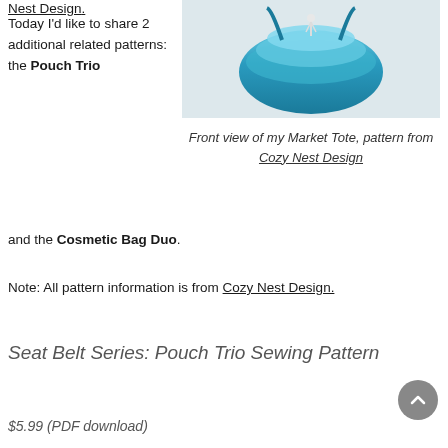Nest Design.
[Figure (photo): Front view of a blue market tote bag with a white tassel, photographed against a light background.]
Front view of my Market Tote, pattern from Cozy Nest Design
Today I'd like to share 2 additional related patterns: the Pouch Trio and the Cosmetic Bag Duo.
Note: All pattern information is from Cozy Nest Design.
Seat Belt Series: Pouch Trio Sewing Pattern
$5.99 (PDF download)